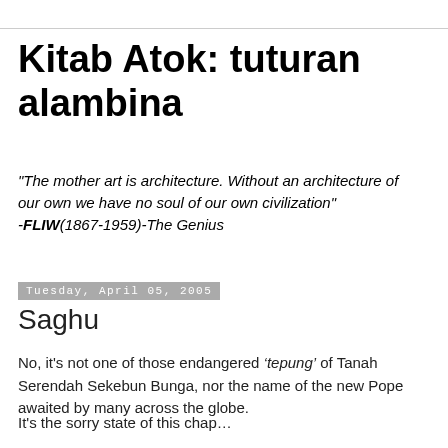Kitab Atok: tuturan alambina
"The mother art is architecture. Without an architecture of our own we have no soul of our own civilization" -FLIW(1867-1959)-The Genius
Tuesday, April 05, 2005
Saghu
No, it's not one of those endangered ‘tepung’ of Tanah Serendah Sekebun Bunga, nor the name of the new Pope awaited by many across the globe.
It's the sorry state of this chap…
First, his wedding to his long time lover leaked to the press before it was formally announced. Then, there was a